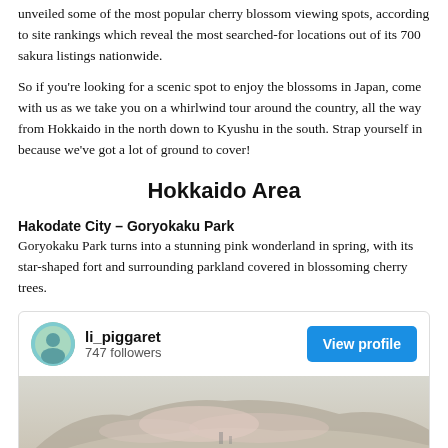unveiled some of the most popular cherry blossom viewing spots, according to site rankings which reveal the most searched-for locations out of its 700 sakura listings nationwide.
So if you're looking for a scenic spot to enjoy the blossoms in Japan, come with us as we take you on a whirlwind tour around the country, all the way from Hokkaido in the north down to Kyushu in the south. Strap yourself in because we've got a lot of ground to cover!
Hokkaido Area
Hakodate City – Goryokaku Park
Goryokaku Park turns into a stunning pink wonderland in spring, with its star-shaped fort and surrounding parkland covered in blossoming cherry trees.
[Figure (screenshot): Instagram-style social card showing user li_piggaret with 747 followers and a View profile button, with an aerial photo of Goryokaku Park below.]